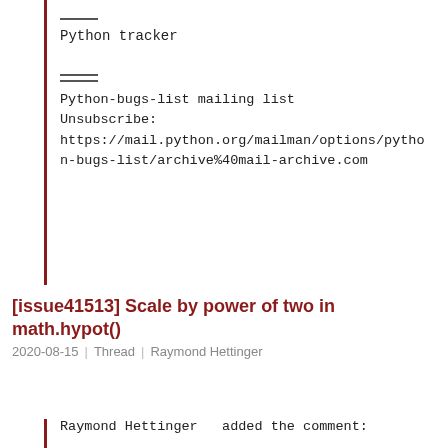Python tracker
Python-bugs-list mailing list
Unsubscribe:
https://mail.python.org/mailman/options/python-bugs-list/archive%40mail-archive.com
[issue41513] Scale by power of two in math.hypot()
2020-08-15 | Thread | Raymond Hettinger
Raymond Hettinger  added the comment:

If someone thinks there is a case for using the C library hypot() for the two-argument form, feel free to reopen this.

Likewise, if someone thinks there is a case